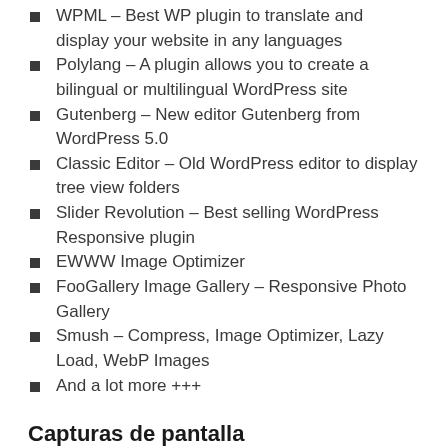WPML – Best WP plugin to translate and display your website in any languages
Polylang – A plugin allows you to create a bilingual or multilingual WordPress site
Gutenberg – New editor Gutenberg from WordPress 5.0
Classic Editor – Old WordPress editor to display tree view folders
Slider Revolution – Best selling WordPress Responsive plugin
EWWW Image Optimizer
FooGallery Image Gallery – Responsive Photo Gallery
Smush – Compress, Image Optimizer, Lazy Load, WebP Images
And a lot more +++
Capturas de pantalla